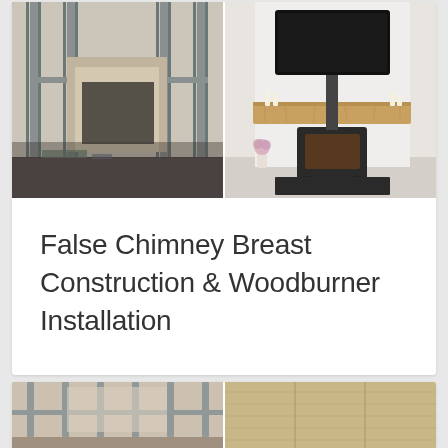[Figure (photo): Side-by-side before and after photos. Left: fireplace construction with metal stud framing exposed and old hearth opening. Right: finished room with wood-burning stove, oak beam mantel, and TV mounted above.]
False Chimney Breast Construction & Woodburner Installation
[Figure (photo): Partial view of another before/after project showing construction framing on the left and finished timber paneling on the right.]